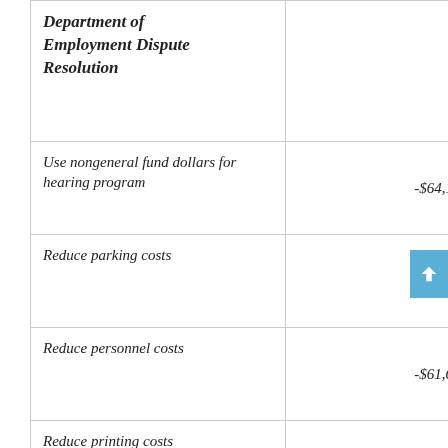| Department / Item | Amount |
| --- | --- |
| Department of Employment Dispute Resolution |  |
| Use nongeneral fund dollars for hearing program | -$64,105 |
| Reduce parking costs | -$2,500 |
| Reduce personnel costs | -$61,699 |
| Reduce printing costs | -$2,500 |
| Reduce reference costs | -$1,000 |